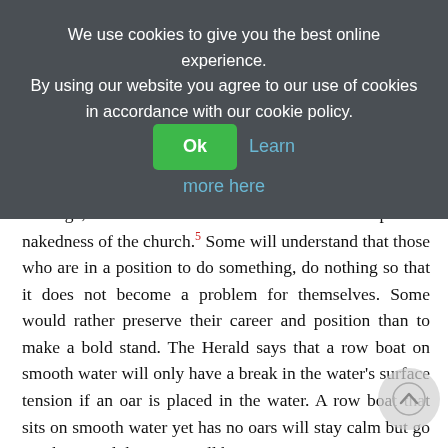We use cookies to give you the best online experience. By using our website you agree to our use of cookies in accordance with our cookie policy. Ok Learn more here
message, while others will understand the spiritual nakedness of the church.5 Some will understand that those who are in a position to do something, do nothing so that it does not become a problem for themselves. Some would rather preserve their career and position than to make a bold stand. The Herald says that a row boat on smooth water will only have a break in the water's surface tension if an oar is placed in the water. A row boat that sits on smooth water yet has no oars will stay calm but go nowhere, and the water will become stagnant.